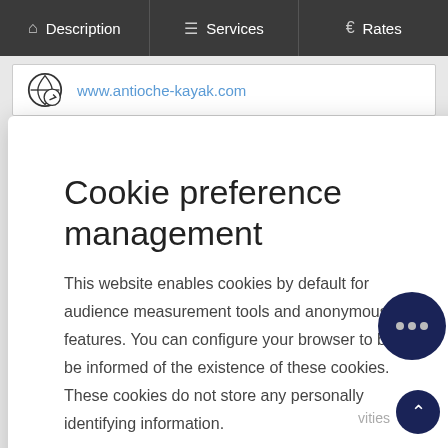Description | Services | Rates
www.antioche-kayak.com
Cookie preference management
This website enables cookies by default for audience measurement tools and anonymous features. You can configure your browser to block or be informed of the existence of these cookies. These cookies do not store any personally identifying information.
Read more
No thanks
I choose
Ok for me